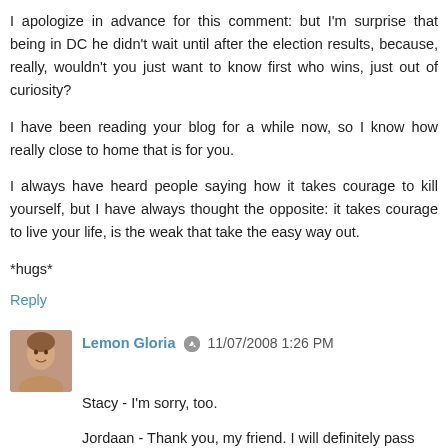I apologize in advance for this comment: but I'm surprise that being in DC he didn't wait until after the election results, because, really, wouldn't you just want to know first who wins, just out of curiosity?
I have been reading your blog for a while now, so I know how really close to home that is for you.
I always have heard people saying how it takes courage to kill yourself, but I have always thought the opposite: it takes courage to live your life, is the weak that take the easy way out.
*hugs*
Reply
Lemon Gloria 11/07/2008 1:26 PM
Stacy - I'm sorry, too.
Jordaan - Thank you, my friend. I will definitely pass them